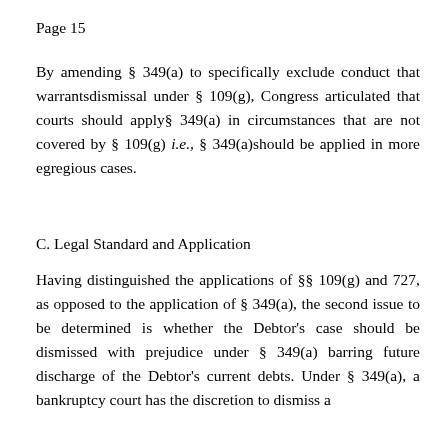Page 15
By amending § 349(a) to specifically exclude conduct that warrantsdismissal under § 109(g), Congress articulated that courts should apply§ 349(a) in circumstances that are not covered by § 109(g) i.e., § 349(a)should be applied in more egregious cases.
C. Legal Standard and Application
Having distinguished the applications of §§ 109(g) and 727, as opposed to the application of § 349(a), the second issue to be determined is whether the Debtor's case should be dismissed with prejudice under § 349(a) barring future discharge of the Debtor's current debts. Under § 349(a), a bankruptcy court has the discretion to dismiss a